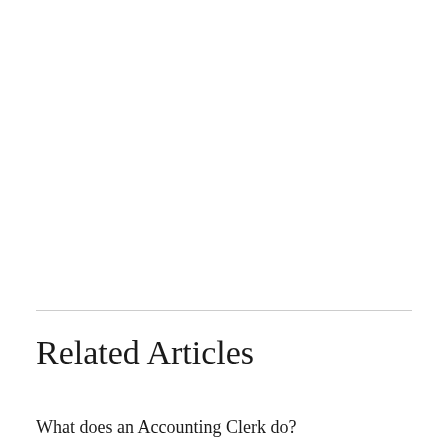Related Articles
What does an Accounting Clerk do?